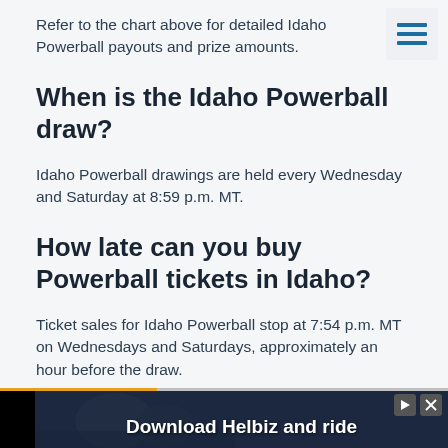Refer to the chart above for detailed Idaho Powerball payouts and prize amounts.
When is the Idaho Powerball draw?
Idaho Powerball drawings are held every Wednesday and Saturday at 8:59 p.m. MT.
How late can you buy Powerball tickets in Idaho?
Ticket sales for Idaho Powerball stop at 7:54 p.m. MT on Wednesdays and Saturdays, approximately an hour before the draw.
[Figure (other): Advertisement banner: Download Helbiz and ride]